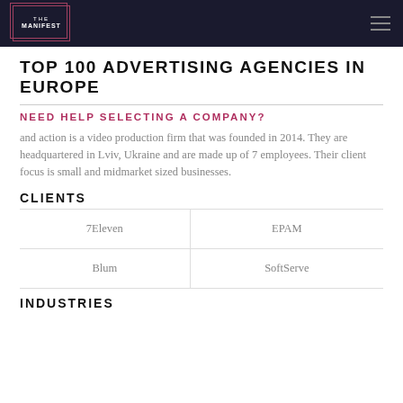THE MANIFEST
TOP 100 ADVERTISING AGENCIES IN EUROPE
NEED HELP SELECTING A COMPANY?
and action is a video production firm that was founded in 2014. They are headquartered in Lviv, Ukraine and are made up of 7 employees. Their client focus is small and midmarket sized businesses.
CLIENTS
| 7Eleven | EPAM |
| Blum | SoftServe |
INDUSTRIES